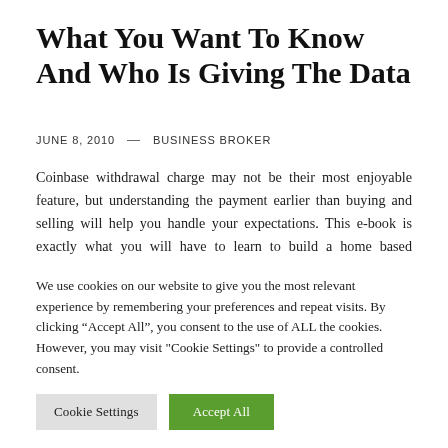What You Want To Know And Who Is Giving The Data
JUNE 8, 2010  —  BUSINESS BROKER
Coinbase withdrawal charge may not be their most enjoyable feature, but understanding the payment earlier than buying and selling will help you handle your expectations. This e-book is exactly what you will have to learn to build a home based enterprise. With regards to business plan creation, the [text continues...]
We use cookies on our website to give you the most relevant experience by remembering your preferences and repeat visits. By clicking “Accept All”, you consent to the use of ALL the cookies. However, you may visit "Cookie Settings" to provide a controlled consent.